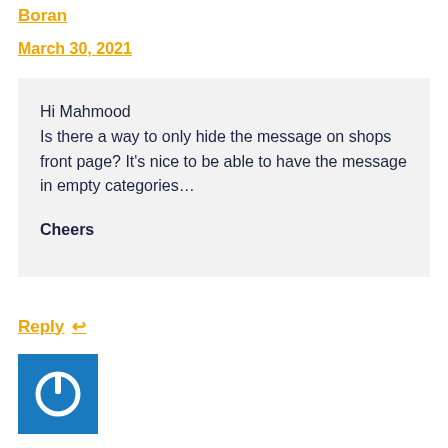Boran
March 30, 2021
Hi Mahmood
Is there a way to only hide the message on shops front page? It's nice to be able to have the message in empty categories…

Cheers
Reply ↩
[Figure (logo): Blue square icon with a white power button symbol]